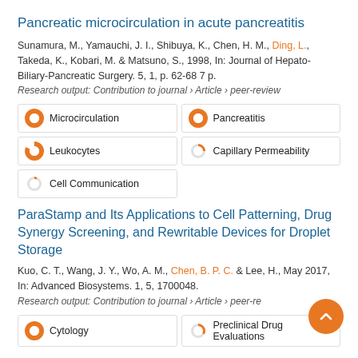Pancreatic microcirculation in acute pancreatitis
Sunamura, M., Yamauchi, J. I., Shibuya, K., Chen, H. M., Ding, L., Takeda, K., Kobari, M. & Matsuno, S., 1998, In: Journal of Hepato-Biliary-Pancreatic Surgery. 5, 1, p. 62-68 7 p.
Research output: Contribution to journal › Article › peer-review
Microcirculation
Pancreatitis
Leukocytes
Capillary Permeability
Cell Communication
ParaStamp and Its Applications to Cell Patterning, Drug Synergy Screening, and Rewritable Devices for Droplet Storage
Kuo, C. T., Wang, J. Y., Wo, A. M., Chen, B. P. C. & Lee, H., May 2017, In: Advanced Biosystems. 1, 5, 1700048.
Research output: Contribution to journal › Article › peer-review
Cytology
Preclinical Drug Evaluations